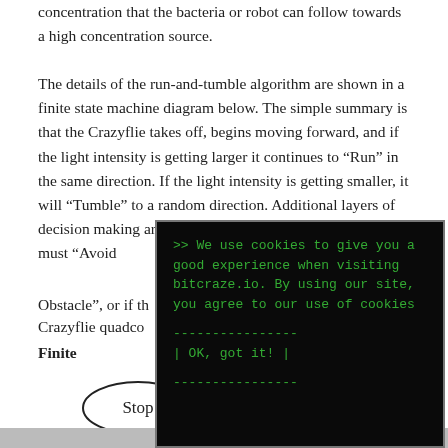concentration that the bacteria or robot can follow towards a high concentration source.
The details of the run-and-tumble algorithm are shown in a finite state machine diagram below. The simple summary is that the Crazyflie takes off, begins moving forward, and if the light intensity is getting larger it continues to "Run" in the same direction. If the light intensity is getting smaller, it will "Tumble" to a random direction. Additional layers of decision making are included to determine if the Crazyflie must "Avoid Obstacle", or if th… Crazyflie quadco…
Finite …
[Figure (screenshot): Cookie consent popup overlay on a dark terminal-style background with green monospace text reading: '>> We use cookies to give you a good experience when visiting bitcraze.io. By using our site, you agree to our use of cookies' followed by a separator line and '| OK, got it! |' button.]
[Figure (flowchart): Finite state machine diagram showing a 'Stop' state as an ellipse in the lower-left portion of the diagram.]